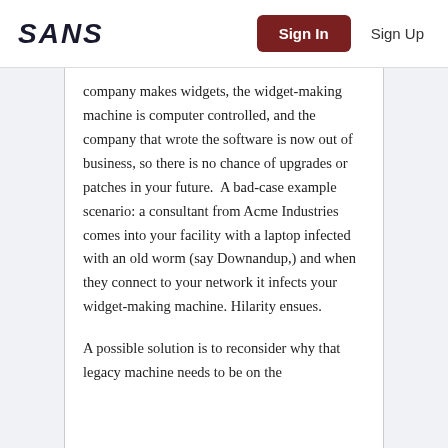SANS | Sign In | Sign Up
company makes widgets, the widget-making machine is computer controlled, and the company that wrote the software is now out of business, so there is no chance of upgrades or patches in your future.  A bad-case example scenario: a consultant from Acme Industries comes into your facility with a laptop infected with an old worm (say Downandup,) and when they connect to your network it infects your widget-making machine. Hilarity ensues.
A possible solution is to reconsider why that legacy machine needs to be on the